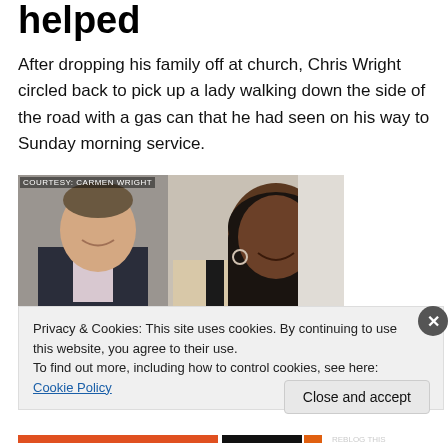helped
After dropping his family off at church, Chris Wright circled back to pick up a lady walking down the side of the road with a gas can that he had seen on his way to Sunday morning service.
[Figure (photo): Two people smiling for a photo — a man in a dark suit on the left and a woman with long dark hair on the right. Photo credit: COURTESY CARMEN WRIGHT]
Privacy & Cookies: This site uses cookies. By continuing to use this website, you agree to their use.
To find out more, including how to control cookies, see here: Cookie Policy
Close and accept